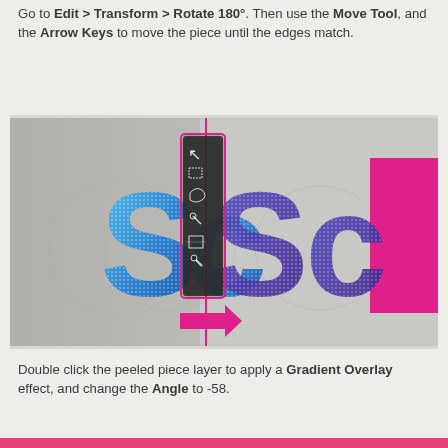Go to Edit > Transform > Rotate 180°. Then use the Move Tool, and the Arrow Keys to move the piece until the edges match.
[Figure (screenshot): A Photoshop screenshot showing text with a peeled/rotated effect. The image shows stylized letters 'sc sc' in blue and purple with a sparkle/diamond border effect. A vertical pink line divides the image, with a pink arrow pointing right. A Photoshop toolbar is visible near the vertical line.]
Double click the peeled piece layer to apply a Gradient Overlay effect, and change the Angle to -58.